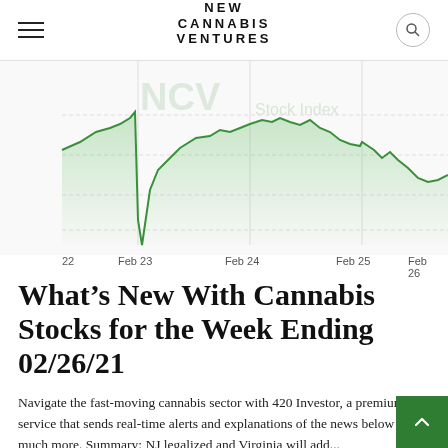NEW CANNABIS VENTURES
[Figure (continuous-plot): Line chart showing cannabis stock index performance from Feb 22 to Feb 26, 2021. The line is green with a shaded green area underneath. There is a sharp dip around Feb 23 followed by recovery and elevated trading, then a decline toward Feb 26.]
22    Feb 23    Feb 24    Feb 25    Feb 26
What's New With Cannabis Stocks for the Week Ending 02/26/21
Navigate the fast-moving cannabis sector with 420 Investor, a premium service that sends real-time alerts and explanations of the news below and much more. Summary: NJ legalized and Virginia will add...